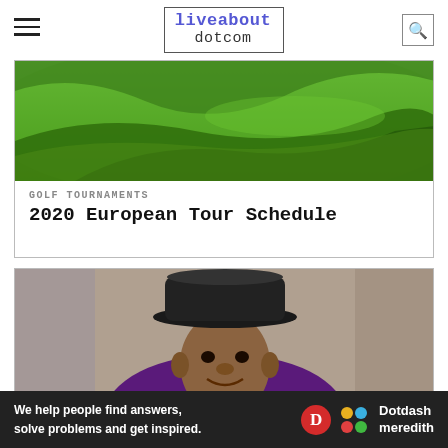liveabout dotcom
[Figure (photo): Green golf course aerial view with rolling hills and fairway]
GOLF TOURNAMENTS
2020 European Tour Schedule
[Figure (photo): Portrait of an elderly man wearing a black fedora hat, yellow scarf, and purple jacket, smiling]
We help people find answers, solve problems and get inspired.
[Figure (logo): Dotdash Meredith logo with D circle and colorful dots]